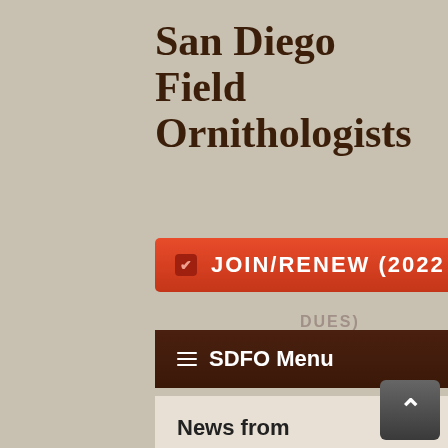San Diego Field Ornithologists
✔ JOIN/RENEW (2022
DUES)
≡ SDFO Menu
News from https://groups.io/g/SanDiegoRe
Hornblower Aug 16 & La Jolla Cove, Aug 17: Black-vented shearwaters and a Franklin's gull